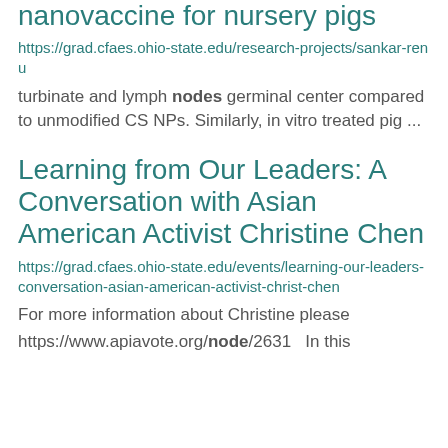nanovaccine for nursery pigs
https://grad.cfaes.ohio-state.edu/research-projects/sankar-renu
turbinate and lymph nodes germinal center compared to unmodified CS NPs. Similarly, in vitro treated pig ...
Learning from Our Leaders: A Conversation with Asian American Activist Christine Chen
https://grad.cfaes.ohio-state.edu/events/learning-our-leaders-conversation-asian-american-activist-christ-chen
For more information about Christine please
https://www.apiavote.org/node/2631   In this